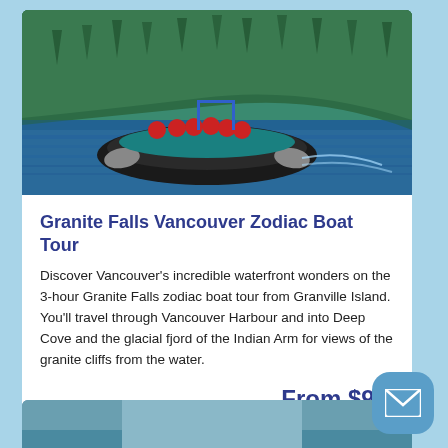[Figure (photo): Zodiac inflatable boat with passengers in red life jackets speeding across deep blue-green water, with forested mountain hillside in background]
Granite Falls Vancouver Zodiac Boat Tour
Discover Vancouver's incredible waterfront wonders on the 3-hour Granite Falls zodiac boat tour from Granville Island. You'll travel through Vancouver Harbour and into Deep Cove and the glacial fjord of the Indian Arm for views of the granite cliffs from the water.
From $99
[Figure (photo): Partial view of a second tour listing below, showing a scenic photo]